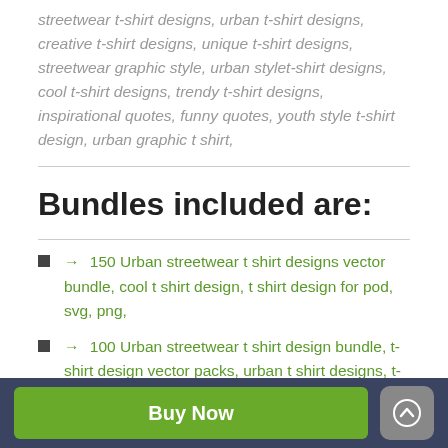streetwear t-shirt designs, urban t-shirt designs, creative t-shirt designs, unique t-shirt designs, streetwear graphic style, urban stylet-shirt designs, cool t-shirt designs, trendy t-shirt designs, inspirational quotes, funny quotes, youth style t-shirt design, urban graphic t shirt,
Bundles included are:
→ 150 Urban streetwear t shirt designs vector bundle, cool t shirt design, t shirt design for pod, svg, png,
→ 100 Urban streetwear t shirt design bundle, t-shirt design vector packs, urban t shirt designs, t-shirt design quotes, mega bundle, slogans, creative, quotes, typography, illustration, svg, png, pod,